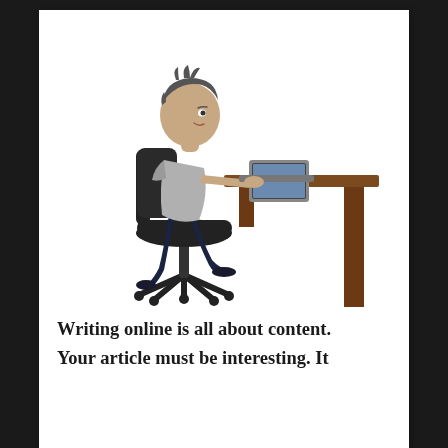[Figure (illustration): Cartoon illustration of a person sitting at a desk on a office chair, using a laptop computer. The person has gray hair, wears a light gray t-shirt and dark navy pants. The desk is brown/wooden. The chair is black.]
Writing online is all about content.
Your article must be interesting. It